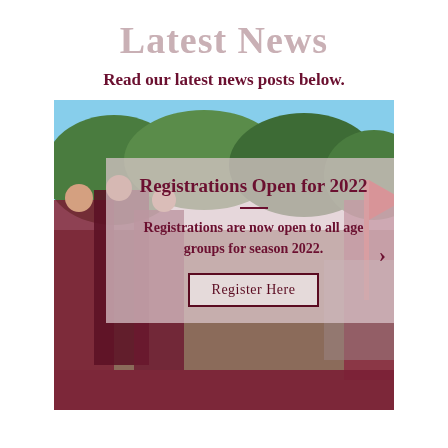Latest News
Read our latest news posts below.
[Figure (photo): Sports team photo with players in dark red jerseys outdoors, with trees and a red flag in the background. An overlay card shows registration information.]
Registrations Open for 2022
Registrations are now open to all age groups for season 2022.
Register Here